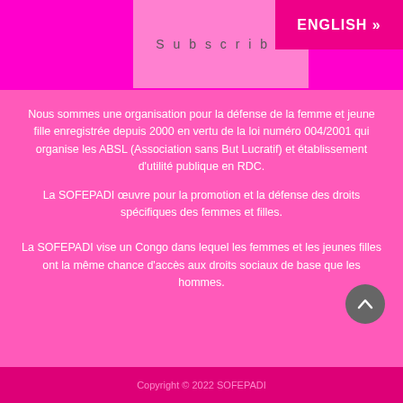Subscribe   ENGLISH »
Nous sommes une organisation pour la défense de la femme et jeune fille enregistrée depuis 2000 en vertu de la loi numéro 004/2001 qui organise les ABSL (Association sans But Lucratif) et établissement d'utilité publique en RDC.
La SOFEPADI œuvre pour la promotion et la défense des droits spécifiques des femmes et filles.
La SOFEPADI vise un Congo dans lequel les femmes et les jeunes filles ont la même chance d'accès aux droits sociaux de base que les hommes.
Copyright © 2022 SOFEPADI